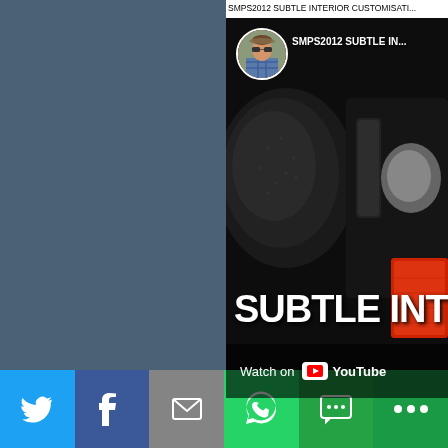SMPS2012 SUBTLE INTERIOR CUSTOMISATI...
[Figure (screenshot): YouTube video thumbnail showing car interior customization with text 'SUBTLE INT' and profile picture, Watch on YouTube button]
This item is in the category Vehicle Parts & A... Accessories\Other Interior Parts & Accessories...
[Figure (infographic): Social media share bar with Twitter, Facebook, Email, WhatsApp, SMS, and More buttons]